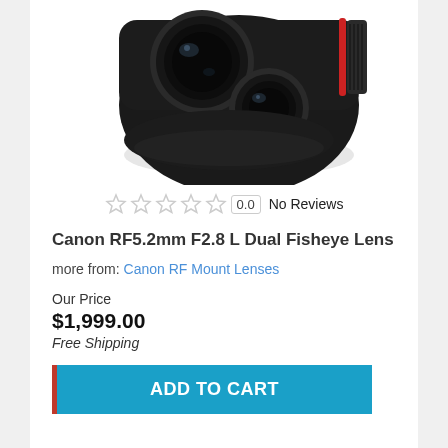[Figure (photo): Canon RF5.2mm F2.8 L Dual Fisheye Lens product photo showing dual fisheye lens elements, black body with red accent ring]
0.0  No Reviews
Canon RF5.2mm F2.8 L Dual Fisheye Lens
more from: Canon RF Mount Lenses
Our Price
$1,999.00
Free Shipping
ADD TO CART